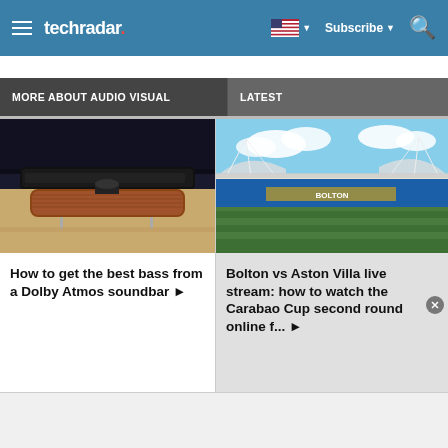techradar
MORE ABOUT AUDIO VISUAL
LATEST
[Figure (photo): Close-up of a Dolby Atmos soundbar on a wooden TV unit with hardwood floor in background]
How to get the best bass from a Dolby Atmos soundbar ▶
[Figure (photo): Football stadium with blue seats and green pitch under blue sky with white clouds]
Bolton vs Aston Villa live stream: how to watch the Carabao Cup second round online f... ▶